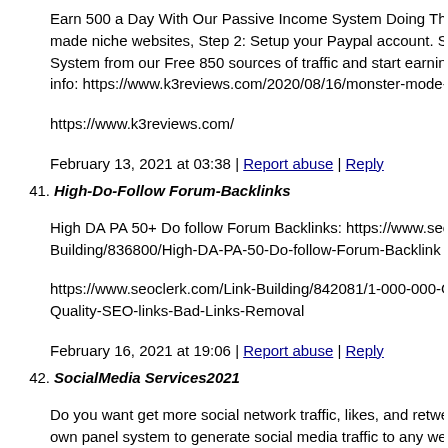Earn 500 a Day With Our Passive Income System Doing These made niche websites, Step 2: Setup your Paypal account. Step System from our Free 850 sources of traffic and start earning y info: https://www.k3reviews.com/2020/08/16/monster-mode-7
https://www.k3reviews.com/
February 13, 2021 at 03:38 | Report abuse | Reply
41. High-Do-Follow Forum-Backlinks
High DA PA 50+ Do follow Forum Backlinks: https://www.seo Building/836800/High-DA-PA-50-Do-follow-Forum-Backlink
https://www.seoclerk.com/Link-Building/842081/1-000-000-G Quality-SEO-links-Bad-Links-Removal
February 16, 2021 at 19:06 | Report abuse | Reply
42. SocialMedia Services2021
Do you want get more social network traffic, likes, and retwee own panel system to generate social media traffic to any websi the market with 714928 orders until now. – Facebook Fan Pag Instagram Followers: $0.78/1000 – Youtube Views: $1.62/100 $2.10/1000 – Paypal Deposit – Payeer Deposit – Automatic or https://smmsupreme.com/